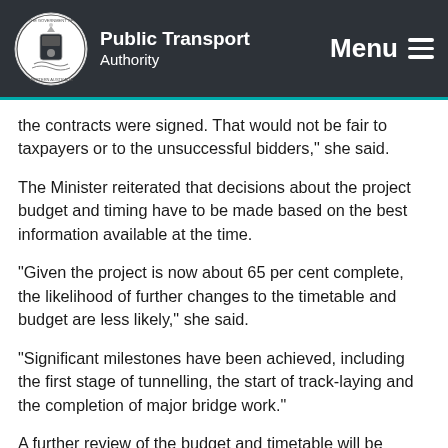Public Transport Authority — Menu
the contracts were signed. That would not be fair to taxpayers or to the unsuccessful bidders," she said.
The Minister reiterated that decisions about the project budget and timing have to be made based on the best information available at the time.
"Given the project is now about 65 per cent complete, the likelihood of further changes to the timetable and budget are less likely," she said.
"Significant milestones have been achieved, including the first stage of tunnelling, the start of track-laying and the completion of major bridge work."
A further review of the budget and timetable will be carried out ahead of the mid-year Budget review and again in next year's Budget.